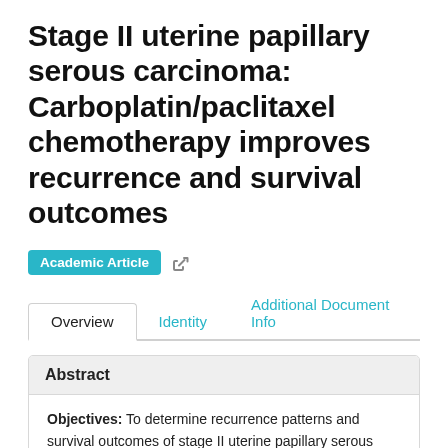Stage II uterine papillary serous carcinoma: Carboplatin/paclitaxel chemotherapy improves recurrence and survival outcomes
Academic Article
Overview | Identity | Additional Document Info
Abstract
Objectives: To determine recurrence patterns and survival outcomes of stage II uterine papillary serous carcinoma (UPSC) patients treated by various modalities with an emphasis on carboplatin/paclitaxel-